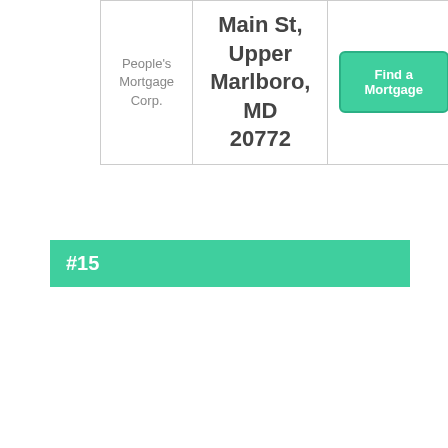| Company | Address | Action |
| --- | --- | --- |
| People's Mortgage Corp. | Main St, Upper Marlboro, MD 20772 | Find a Mortgage |
#15
| Company | Address | Action |
| --- | --- | --- |
| Residential Mortgage Corporation | 9701 Apollo Dr #230, Upper Marlboro, MD | Find a Mortgage |